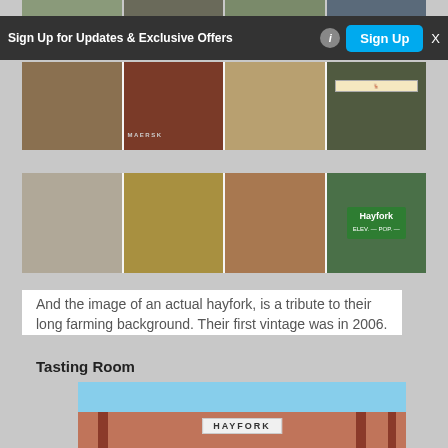[Figure (photo): Partially visible top photo strip of various outdoor scenes]
[Figure (photo): Ad banner: Sign Up for Updates & Exclusive Offers with Sign Up button]
[Figure (photo): Second row of four photos: tree/park, Maersk building, road/path, deer crossing sign]
[Figure (photo): Third row of four photos: building ruins, yellow vehicle, street view, Hayfork town sign]
And the image of an actual hayfork, is a tribute to their long farming background. Their first vintage was in 2006.
Tasting Room
[Figure (photo): Photo of Hayfork tasting room building exterior with red/terracotta columns and Hayfork sign]